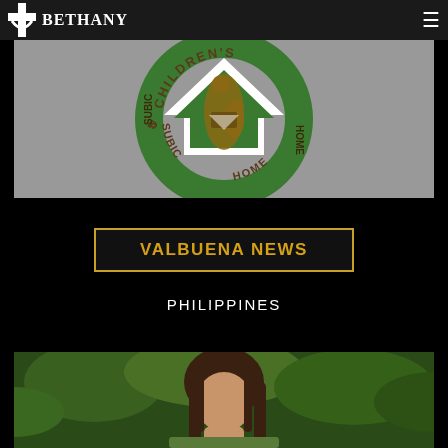[Figure (logo): Bethany Christian logo with cross icon and BETHANY text in white on dark header bar]
[Figure (logo): Subic Bay Children's Home circular logo with green house/arrow shape and bronze statue of adult reading to child]
VALBUENA NEWS
PHILIPPINES
[Figure (photo): Partial photo of a person with long brown hair outdoors in green foliage setting]